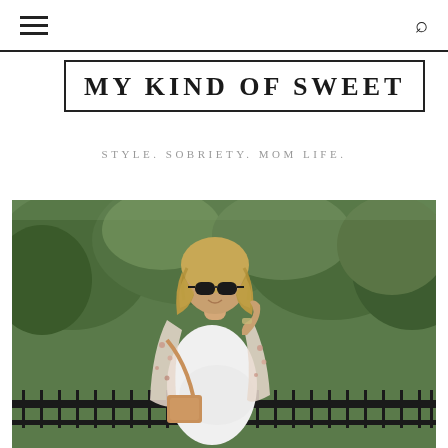≡  🔍
MY KIND OF SWEET
STYLE. SOBRIETY. MOM LIFE.
[Figure (photo): Pregnant woman wearing sunglasses, a white dress and floral kimono/cardigan, holding a tan crossbody bag, standing outdoors in front of green trees and a black iron fence, smiling and looking to the side.]